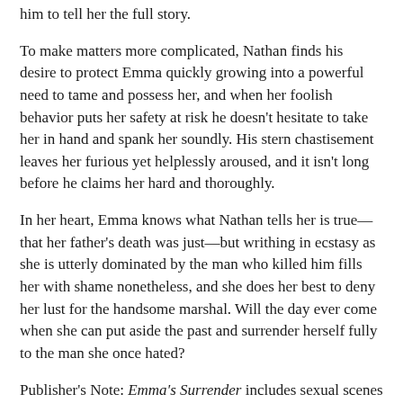him to tell her the full story.
To make matters more complicated, Nathan finds his desire to protect Emma quickly growing into a powerful need to tame and possess her, and when her foolish behavior puts her safety at risk he doesn't hesitate to take her in hand and spank her soundly. His stern chastisement leaves her furious yet helplessly aroused, and it isn't long before he claims her hard and thoroughly.
In her heart, Emma knows what Nathan tells her is true—that her father's death was just—but writhing in ecstasy as she is utterly dominated by the man who killed him fills her with shame nonetheless, and she does her best to deny her lust for the handsome marshal. Will the day ever come when she can put aside the past and surrender herself fully to the man she once hated?
Publisher's Note: Emma's Surrender includes sexual scenes and spankings. If such material offends you, please don't buy this book.